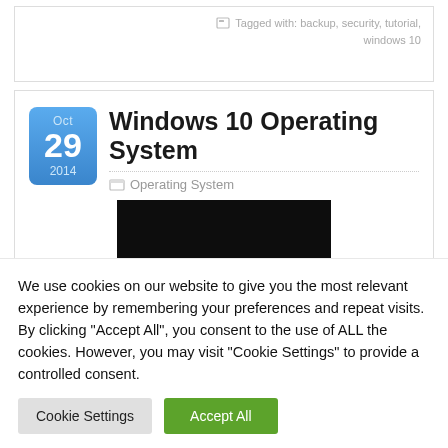Tagged with: backup, security, tutorial, windows 10
Windows 10 Operating System
Operating System
[Figure (photo): Dark/black image placeholder for Windows 10 Operating System article]
We use cookies on our website to give you the most relevant experience by remembering your preferences and repeat visits. By clicking "Accept All", you consent to the use of ALL the cookies. However, you may visit "Cookie Settings" to provide a controlled consent.
Cookie Settings | Accept All